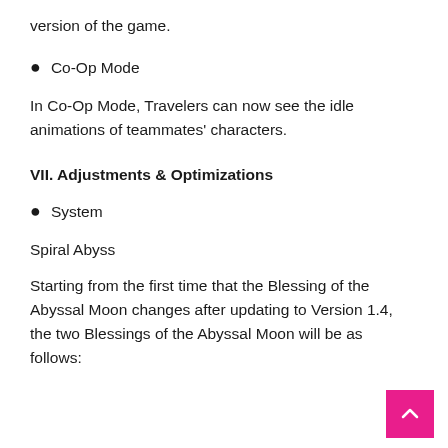version of the game.
Co-Op Mode
In Co-Op Mode, Travelers can now see the idle animations of teammates' characters.
VII. Adjustments & Optimizations
System
Spiral Abyss
Starting from the first time that the Blessing of the Abyssal Moon changes after updating to Version 1.4, the two Blessings of the Abyssal Moon will be as follows: